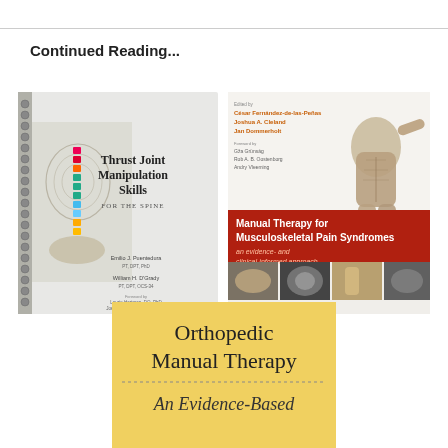Continued Reading...
[Figure (photo): Book cover: Thrust Joint Manipulation Skills for the Spine by Emilio J. Puentedura and William H. O'Grady, with foreword by Laurie Hartman and Joe Farrell. Spiral-bound book showing a skeleton with colored spine.]
[Figure (photo): Book cover: Manual Therapy for Musculoskeletal Pain Syndromes - an evidence- and clinical-informed approach. Edited by César Fernández-de-las-Peñas, Joshua A. Cleland, Jan Dommerholt. Published by Elsevier. Shows anatomical muscle figure on white/red background.]
[Figure (photo): Book cover: Orthopedic Manual Therapy - An Evidence-Based Approach. Yellow background with serif title text.]